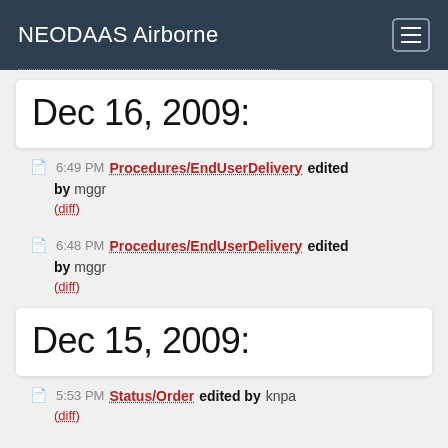NEODAAS Airborne
Dec 16, 2009:
6:49 PM Procedures/EndUserDelivery edited by mggr
(diff)
6:48 PM Procedures/EndUserDelivery edited by mggr
(diff)
Dec 15, 2009:
5:53 PM Status/Order edited by knpa
(diff)